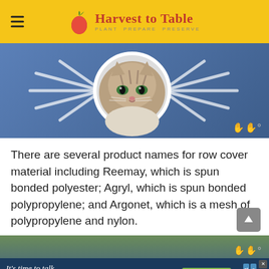Harvest to Table — PLANT PREPARE PRESERVE
[Figure (photo): A tabby cat with wide eyes centered on a blue illustrated background with white radiating lines, sticker-style cutout effect]
There are several product names for row cover material including Reemay, which is spun bonded polyester; Agryl, which is spun bonded polypropylene; and Argonet, which is a mesh of polypropylene and nylon.
[Figure (photo): Partial view of a garden fence or structure with trees, partially overlapped by an Alzheimer's Association advertisement banner reading "It's time to talk about Alzheimer's." with a Learn More button]